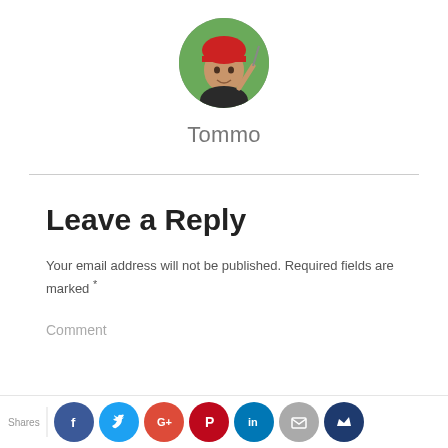[Figure (photo): Circular avatar photo of a person wearing a red helmet outdoors]
Tommo
Leave a Reply
Your email address will not be published. Required fields are marked *
Comment
[Figure (infographic): Social share bar with icons: Facebook, Twitter, Google+, Pinterest, LinkedIn, Email, and another share button. Label reads Shares.]